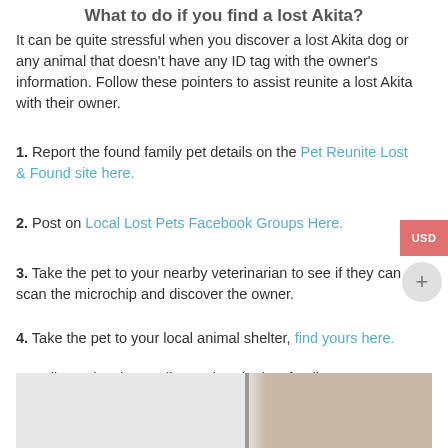What to do if you find a lost Akita?
It can be quite stressful when you discover a lost Akita dog or any animal that doesn't have any ID tag with the owner's information. Follow these pointers to assist reunite a lost Akita with their owner.
1. Report the found family pet details on the Pet Reunite Lost & Found site here.
2. Post on Local Lost Pets Facebook Groups Here.
3. Take the pet to your nearby veterinarian to see if they can scan the microchip and discover the owner.
4. Take the pet to your local animal shelter, find yours here.
5. Call your local council to gather the lost family pet.
[Figure (photo): Bottom portion of an image showing a light gray and beige/tan background, partially visible, with a vertical divider strip.]